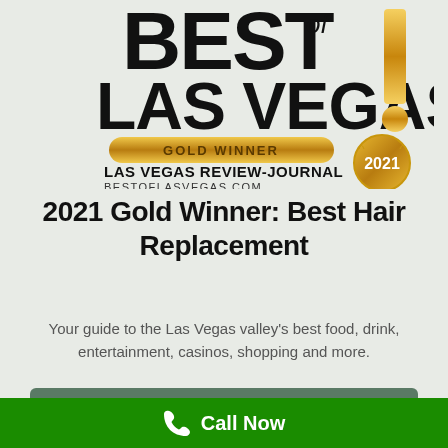[Figure (logo): Best of Las Vegas Gold Winner 2021 Las Vegas Review-Journal award logo with large bold BEST text, gold ribbon reading GOLD WINNER, Las Vegas Review-Journal text, bestoflasvegas.com, gold medallion with 2021, and gold exclamation mark]
2021 Gold Winner: Best Hair Replacement
Your guide to the Las Vegas valley's best food, drink, entertainment, casinos, shopping and more.
See our profile here!
Call Now